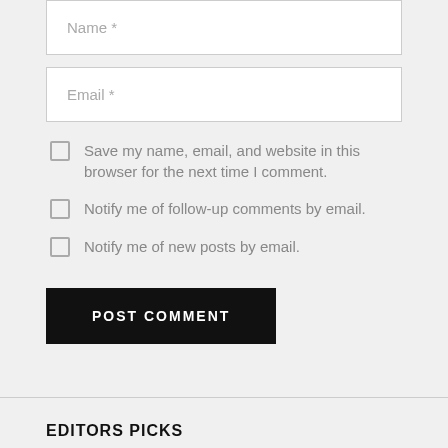Name *
Email *
Save my name, email, and website in this browser for the next time I comment.
Notify me of follow-up comments by email.
Notify me of new posts by email.
POST COMMENT
EDITORS PICKS